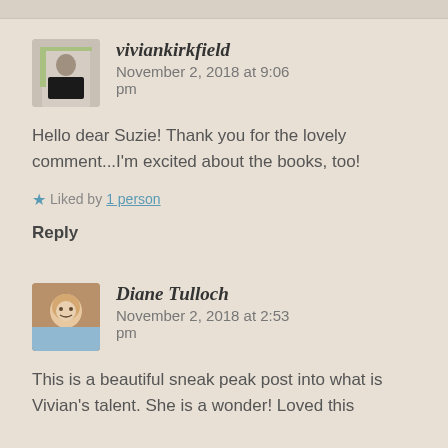viviankirkfield  November 2, 2018 at 9:06 pm
Hello dear Suzie! Thank you for the lovely comment...I'm excited about the books, too!
Liked by 1 person
Reply
Diane Tulloch  November 2, 2018 at 2:53 pm
This is a beautiful sneak peak post into what is Vivian's talent. She is a wonder! Loved this